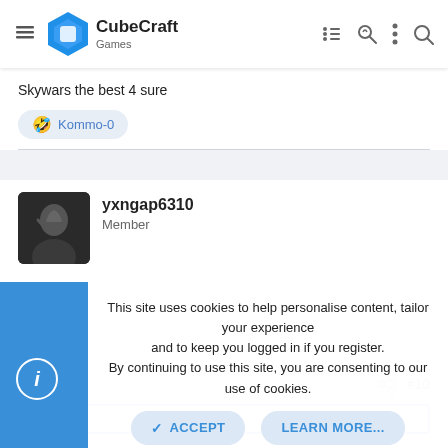CubeCraft Games
Skywars the best 4 sure
😂 Kommo-0
yxngap6310
Member
Dec 3, 2021   #10
This site uses cookies to help personalise content, tailor your experience and to keep you logged in if you register.
By continuing to use this site, you are consenting to our use of cookies.